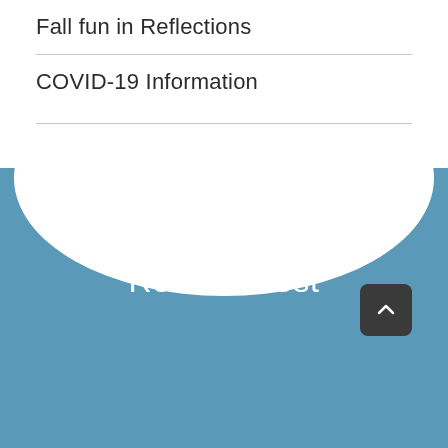Fall fun in Reflections
COVID-19 Information
Related Post
[Figure (photo): Interior room photo showing a wall sconce light fixture and framed artwork on the wall]